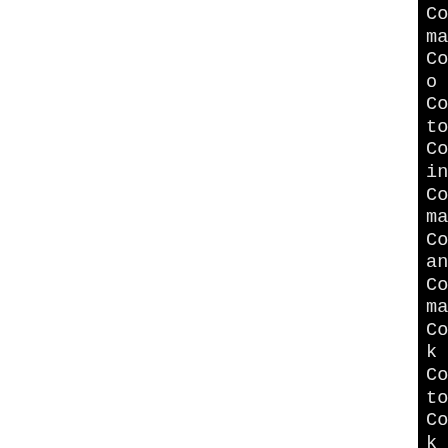Converted /usr/share/man/man link: man3/openssl_ERR... Converted /usr/share/man/o man link: man3/openssl_E... Converted /usr/share/man/to man link: man3/openssl_... Converted /usr/share/man/ink: man3/openssl_ERR_get_... Converted /usr/share/man/man link: man3/openssl_ERR... Converted /usr/share/man/an link: man3/openssl_ERR_... Converted /usr/share/man/man link: man3/openssl_ERR... Converted /usr/share/man/k to man link: man3/openss... Converted /usr/share/man/to man link: man3/openssl_... Converted /usr/share/man/k to man link: man3/openss... Converted /usr/share/man/ymlink to man link: man3/o... Converted /usr/share/man/to man link: man3/openssl...